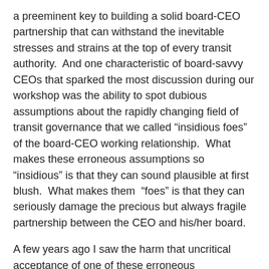a preeminent key to building a solid board-CEO partnership that can withstand the inevitable stresses and strains at the top of every transit authority.  And one characteristic of board-savvy CEOs that sparked the most discussion during our workshop was the ability to spot dubious assumptions about the rapidly changing field of transit governance that we called “insidious foes” of the board-CEO working relationship.  What makes these erroneous assumptions so  “insidious” is that they can sound plausible at first blush.  What makes them  “foes” is that they can seriously damage the precious but always fragile partnership between the CEO and his/her board.
A few years ago I saw the harm that uncritical acceptance of one of these erroneous assumptions can cause.  I was retained to work with a transit board and its CEO to repair – if possible – a dangerously frayed working relationship.  Over the course of a half-day together early in the engagement, the CEO and I identified a culprit at the heart of the problem with his board:  the